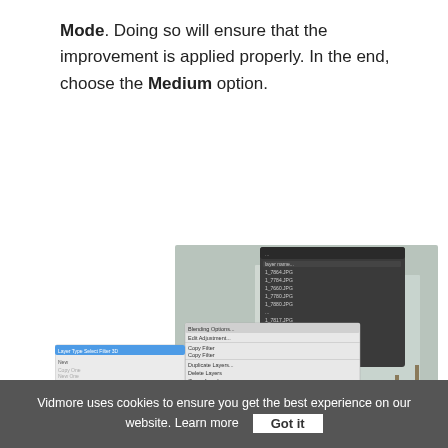Mode. Doing so will ensure that the improvement is applied properly. In the end, choose the Medium option.
[Figure (screenshot): Photoshop Layer menu screenshots showing context menus with 'Convert to Smart Object' highlighted (step 1) and Smart Filters submenu with 'Median' option highlighted (step 2), overlaid on a street photo background]
Vidmore uses cookies to ensure you get the best experience on our website. Learn more  Got it